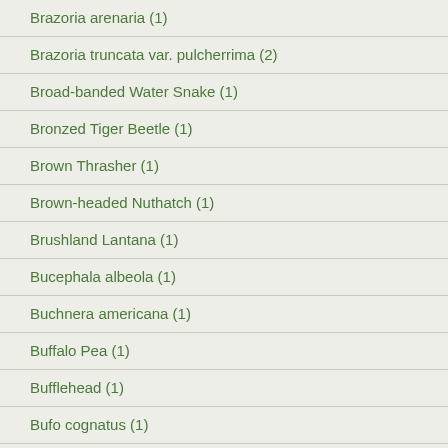Brazoria arenaria (1)
Brazoria truncata var. pulcherrima (2)
Broad-banded Water Snake (1)
Bronzed Tiger Beetle (1)
Brown Thrasher (1)
Brown-headed Nuthatch (1)
Brushland Lantana (1)
Bucephala albeola (1)
Buchnera americana (1)
Buffalo Pea (1)
Bufflehead (1)
Bufo cognatus (1)
Bufo fowleri (1)
Bumelia Borer (1)
Buprestis lineatus (1)